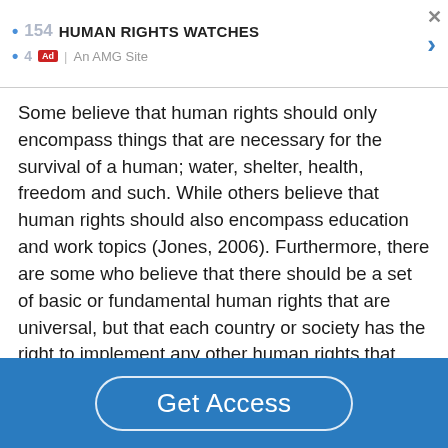HUMAN RIGHTS WATCHES | Ad | An AMG Site
Some believe that human rights should only encompass things that are necessary for the survival of a human; water, shelter, health, freedom and such. While others believe that human rights should also encompass education and work topics (Jones, 2006). Furthermore, there are some who believe that there should be a set of basic or fundamental human rights that are universal, but that each country or society has the right to implement any other human rights that they think are required within their group (Talbott, 2005, p 3-4). This is important to
Get Access